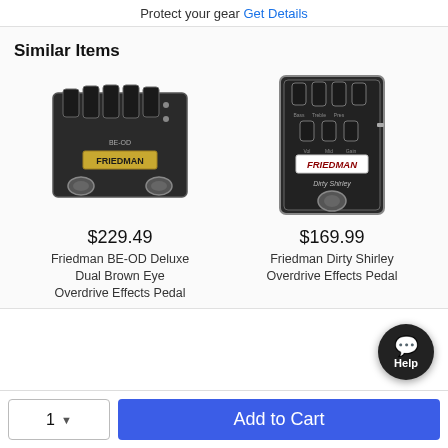Protect your gear Get Details
Similar Items
[Figure (photo): Friedman BE-OD Deluxe Dual Brown Eye Overdrive Effects Pedal - black guitar pedal with multiple knobs and Friedman logo]
$229.49
Friedman BE-OD Deluxe Dual Brown Eye Overdrive Effects Pedal
[Figure (photo): Friedman Dirty Shirley Overdrive Effects Pedal - black guitar pedal with knobs and Friedman logo]
$169.99
Friedman Dirty Shirley Overdrive Effects Pedal
Help
1  Add to Cart